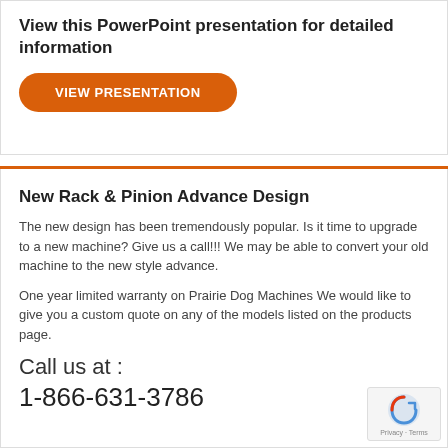View this PowerPoint presentation for detailed information
[Figure (other): Orange rounded button labeled VIEW PRESENTATION]
New Rack & Pinion Advance Design
The new design has been tremendously popular. Is it time to upgrade to a new machine? Give us a call!!! We may be able to convert your old machine to the new style advance.
One year limited warranty on Prairie Dog Machines We would like to give you a custom quote on any of the models listed on the products page.
Call us at :
1-866-631-3786